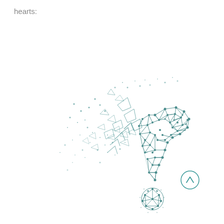hearts:
[Figure (illustration): A geometric low-poly / wireframe question mark composed of interconnected triangular mesh nodes (teal/dark cyan color), with fragments and scattered polygon shards dispersing to the upper-left, giving the impression of the question mark dissolving or disintegrating. A small circular back-to-top arrow icon appears in the lower right corner.]